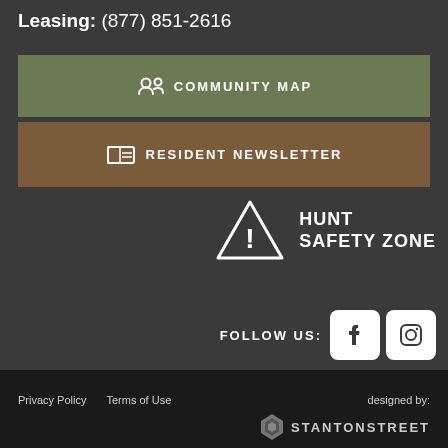Leasing: (877) 851-2616
COMMUNITY MAP
RESIDENT NEWSLETTER
[Figure (logo): Hunt Safety Zone logo with warning triangle icon and white text]
FOLLOW US:
[Figure (logo): Facebook and Instagram social media icons in white rounded squares]
Privacy Policy   Terms of Use   designed by: STANTONSTREET